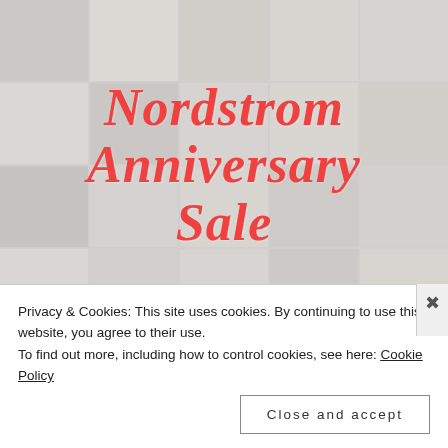[Figure (photo): A collage of Nordstrom products including makeup, boots, heels, watch, sunburst mirror, clutch bag, lace-up flats, tall riding boots, ballet flats, skincare device, Clarisonic, makeup brushes, and home items arranged on a light grey background. Overlaid in red cursive script: 'Nordstrom Anniversary Sale'.]
Privacy & Cookies: This site uses cookies. By continuing to use this website, you agree to their use.
To find out more, including how to control cookies, see here: Cookie Policy